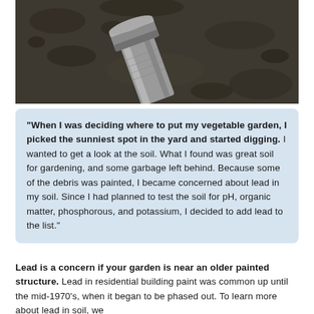[Figure (photo): Close-up photo of a metal bolt or pipe fitting partially buried in dark soil/dirt.]
“When I was deciding where to put my vegetable garden, I picked the sunniest spot in the yard and started digging. I wanted to get a look at the soil. What I found was great soil for gardening, and some garbage left behind. Because some of the debris was painted, I became concerned about lead in my soil. Since I had planned to test the soil for pH, organic matter, phosphorous, and potassium, I decided to add lead to the list.”
Lead is a concern if your garden is near an older painted structure. Lead in residential building paint was common up until the mid-1970’s, when it began to be phased out. To learn more about lead in soil, we